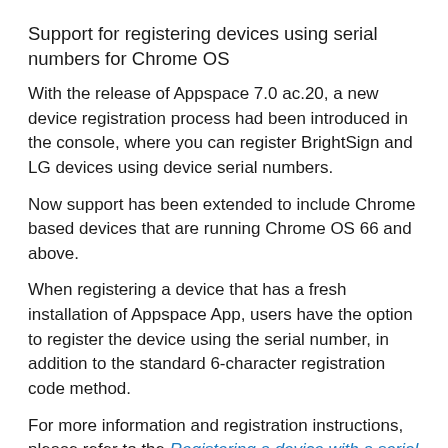Support for registering devices using serial numbers for Chrome OS
With the release of Appspace 7.0 ac.20, a new device registration process had been introduced in the console, where you can register BrightSign and LG devices using device serial numbers.
Now support has been extended to include Chrome based devices that are running Chrome OS 66 and above.
When registering a device that has a fresh installation of Appspace App, users have the option to register the device using the serial number, in addition to the standard 6-character registration code method.
For more information and registration instructions, please refer to the Registering a device with a serial number article.
Patch Updates
ac.21